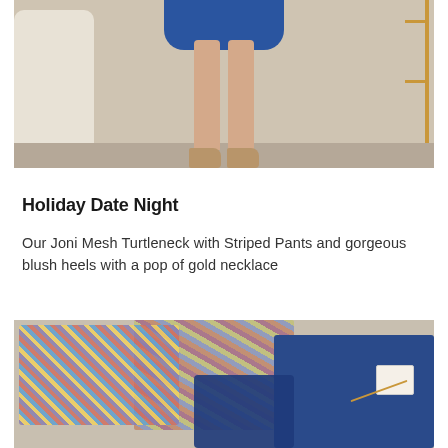[Figure (photo): Bottom half of a woman wearing a blue skirt and tan/gold flats, standing in a styled room with a cream chair and gold display stand. Beige/tan floor.]
Holiday Date Night
Our Joni Mesh Turtleneck with Striped Pants and gorgeous blush heels with a pop of gold necklace
[Figure (photo): Flat lay of clothing items including a colorful patterned knit/mesh top, a plaid/striped item, and blue denim piece with a tag and gold chain detail, arranged on a neutral fabric background.]